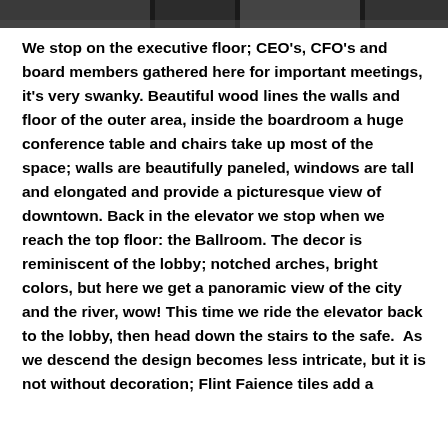[Figure (photo): Partial photo at the top of the page, appears to show an interior architectural or construction scene in black and white/dark tones.]
We stop on the executive floor; CEO's, CFO's and board members gathered here for important meetings, it's very swanky. Beautiful wood lines the walls and floor of the outer area, inside the boardroom a huge conference table and chairs take up most of the space; walls are beautifully paneled, windows are tall and elongated and provide a picturesque view of downtown. Back in the elevator we stop when we reach the top floor: the Ballroom. The decor is reminiscent of the lobby; notched arches, bright colors, but here we get a panoramic view of the city and the river, wow! This time we ride the elevator back to the lobby, then head down the stairs to the safe.  As we descend the design becomes less intricate, but it is not without decoration; Flint Faience tiles add a